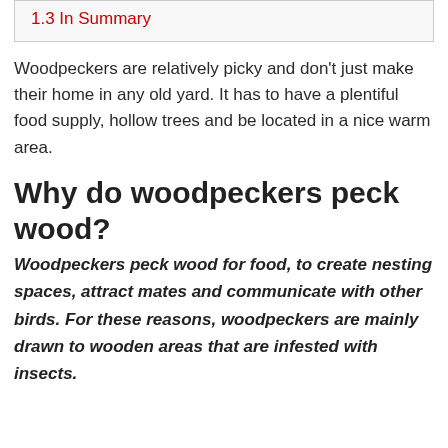1.3 In Summary
Woodpeckers are relatively picky and don't just make their home in any old yard. It has to have a plentiful food supply, hollow trees and be located in a nice warm area.
Why do woodpeckers peck wood?
Woodpeckers peck wood for food, to create nesting spaces, attract mates and communicate with other birds. For these reasons, woodpeckers are mainly drawn to wooden areas that are infested with insects.